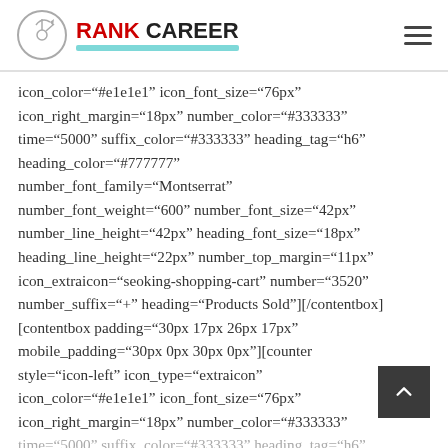RANK CAREER
icon_color="#e1e1e1" icon_font_size="76px" icon_right_margin="18px" number_color="#333333" time="5000" suffix_color="#333333" heading_tag="h6" heading_color="#777777" number_font_family="Montserrat" number_font_weight="600" number_font_size="42px" number_line_height="42px" heading_font_size="18px" heading_line_height="22px" number_top_margin="11px" icon_extraicon="seoking-shopping-cart" number="3520" number_suffix="+" heading="Products Sold"][/contentbox][contentbox padding="30px 17px 26px 17px" mobile_padding="30px 0px 30px 0px"][counter style="icon-left" icon_type="extraicon" icon_color="#e1e1e1" icon_font_size="76px" icon_right_margin="18px" number_color="#333333" time="5000" suffix_color="#333333" heading_tag="h6"